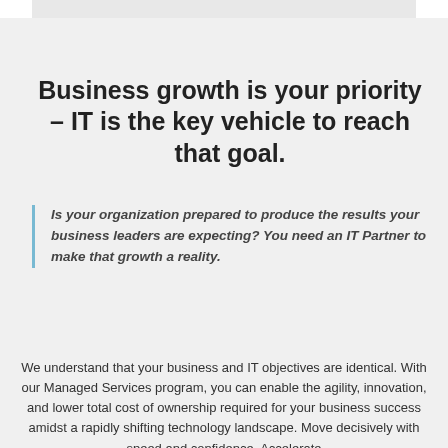Business growth is your priority – IT is the key vehicle to reach that goal.
Is your organization prepared to produce the results your business leaders are expecting? You need an IT Partner to make that growth a reality.
We understand that your business and IT objectives are identical. With our Managed Services program, you can enable the agility, innovation, and lower total cost of ownership required for your business success amidst a rapidly shifting technology landscape. Move decisively with speed and confidence. Accelerate